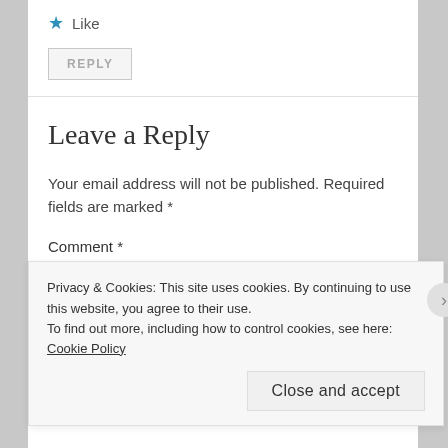★ Like
REPLY
Leave a Reply
Your email address will not be published. Required fields are marked *
Comment *
Privacy & Cookies: This site uses cookies. By continuing to use this website, you agree to their use.
To find out more, including how to control cookies, see here: Cookie Policy
Close and accept